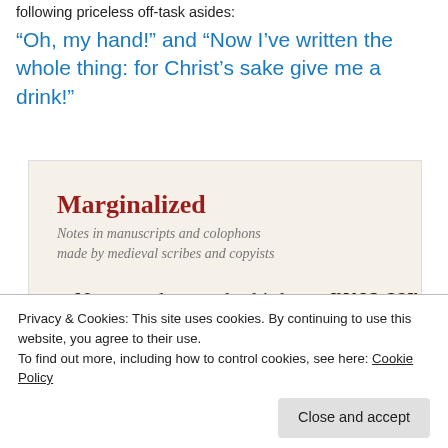following priceless off-task asides:
“Oh, my hand!” and “Now I’ve written the whole thing: for Christ’s sake give me a drink!”
[Figure (infographic): Decorative image panel with red bold title 'Marginalized', italic subtitle 'Notes in manuscripts and colophons made by medieval scribes and copyists', a bullet quote '~ New parchment, bad ink; I say nothing more.' and medieval script lettering on the right side. Bottom text reads 'honor the writer’s pen.']
Privacy & Cookies: This site uses cookies. By continuing to use this website, you agree to their use.
To find out more, including how to control cookies, see here: Cookie Policy
Close and accept